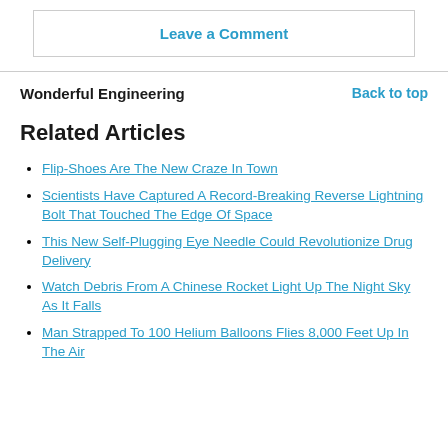Leave a Comment
Wonderful Engineering
Back to top
Related Articles
Flip-Shoes Are The New Craze In Town
Scientists Have Captured A Record-Breaking Reverse Lightning Bolt That Touched The Edge Of Space
This New Self-Plugging Eye Needle Could Revolutionize Drug Delivery
Watch Debris From A Chinese Rocket Light Up The Night Sky As It Falls
Man Strapped To 100 Helium Balloons Flies 8,000 Feet Up In The Air